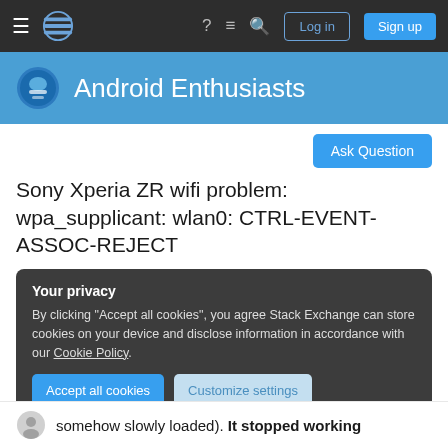Android Enthusiasts Stack Exchange - nav bar with Log in and Sign up
[Figure (screenshot): Android Enthusiasts site header with logo and title]
[Figure (other): Ask Question button]
Sony Xperia ZR wifi problem: wpa_supplicant: wlan0: CTRL-EVENT-ASSOC-REJECT
Your privacy
By clicking "Accept all cookies", you agree Stack Exchange can store cookies on your device and disclose information in accordance with our Cookie Policy.
Accept all cookies   Customize settings
somehow slowly loaded). It stopped working